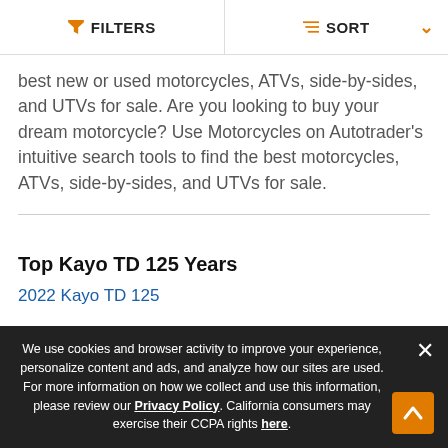FILTERS   SORT
best new or used motorcycles, ATVs, side-by-sides, and UTVs for sale. Are you looking to buy your dream motorcycle? Use Motorcycles on Autotrader's intuitive search tools to find the best motorcycles, ATVs, side-by-sides, and UTVs for sale.
Top Kayo TD 125 Years
2022 Kayo TD 125
We use cookies and browser activity to improve your experience, personalize content and ads, and analyze how our sites are used. For more information on how we collect and use this information, please review our Privacy Policy. California consumers may exercise their CCPA rights here.